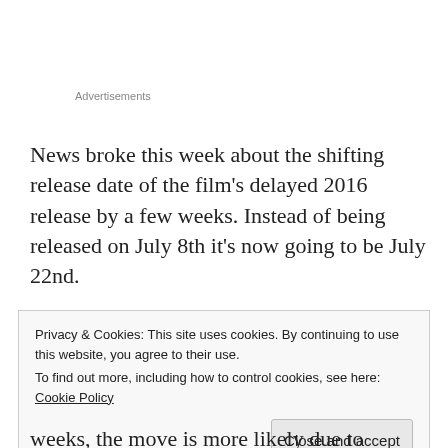Advertisements
News broke this week about the shifting release date of the film's delayed 2016 release by a few weeks. Instead of being released on July 8th it's now going to be July 22nd.
The reason is very simple, Summer is the time of big blockbusters, for them all to succeed they need to be
Privacy & Cookies: This site uses cookies. By continuing to use this website, you agree to their use.
To find out more, including how to control cookies, see here: Cookie Policy
Close and accept
weeks, the move is more likely due to logistical issues